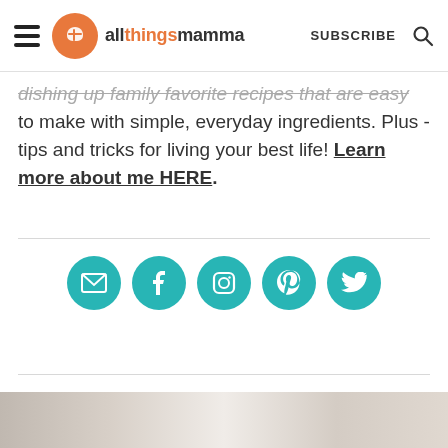allthingsmamma — SUBSCRIBE
dishing up family favorite recipes that are easy to make with simple, everyday ingredients. Plus - tips and tricks for living your best life! Learn more about me HERE.
[Figure (infographic): Row of 5 teal circular social media icons: email, Facebook, Instagram, Pinterest, Twitter]
[Figure (photo): Partial bottom image strip showing food photography]